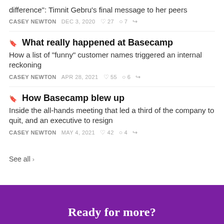difference": Timnit Gebru's final message to her peers
CASEY NEWTON   DEC 3, 2020   ♡ 27   ○ 7   ↗
🔖 What really happened at Basecamp
How a list of "funny" customer names triggered an internal reckoning
CASEY NEWTON   APR 28, 2021   ♡ 55   ○ 6   ↗
🔖 How Basecamp blew up
Inside the all-hands meeting that led a third of the company to quit, and an executive to resign
CASEY NEWTON   MAY 4, 2021   ♡ 42   ○ 4   ↗
See all ›
Ready for more?